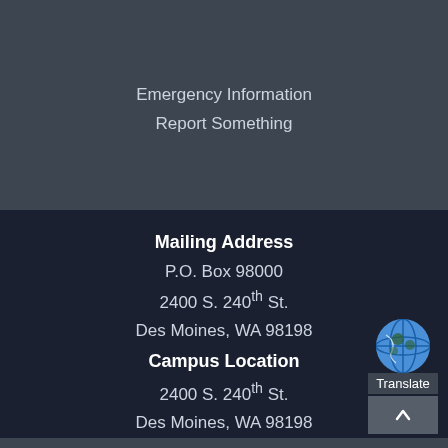Emergency Information
Report Something
Mailing Address
P.O. Box 98000
2400 S. 240th St.
Des Moines, WA 98198
Campus Location
2400 S. 240th St.
Des Moines, WA 98198
English (206) 878-3710
Español (206) 592-3750
TTY (206) 870-4853